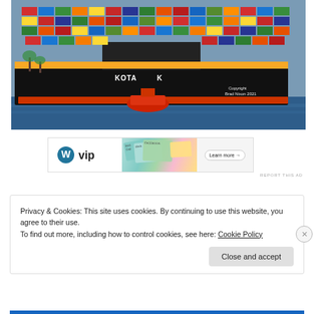[Figure (photo): Large container ship named KOTA with colorful stacked shipping containers, assisted by a red tugboat, in a harbor. Copyright Brad Nixon 2021.]
[Figure (other): WordPress VIP advertisement banner with social media card graphics and a Learn more button]
REPORT THIS AD
Privacy & Cookies: This site uses cookies. By continuing to use this website, you agree to their use.
To find out more, including how to control cookies, see here: Cookie Policy
Close and accept